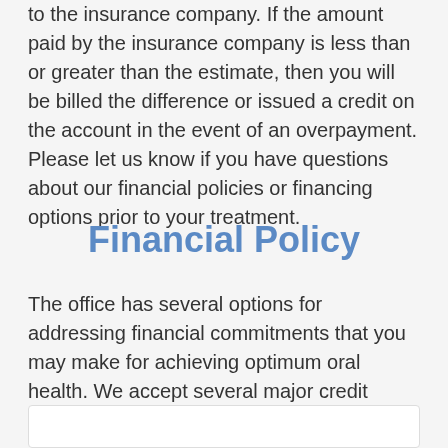to the insurance company. If the amount paid by the insurance company is less than or greater than the estimate, then you will be billed the difference or issued a credit on the account in the event of an overpayment. Please let us know if you have questions about our financial policies or financing options prior to your treatment.
Financial Policy
The office has several options for addressing financial commitments that you may make for achieving optimum oral health. We accept several major credit cards as well as offering financing options.
Pay Online